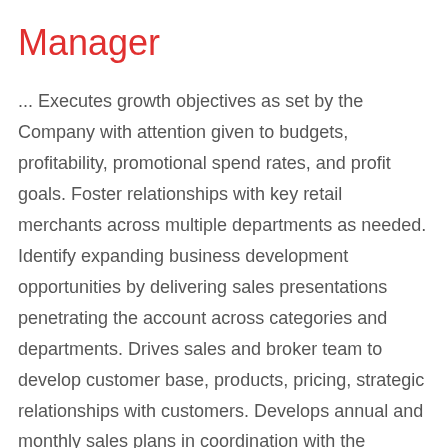Manager
... Executes growth objectives as set by the Company with attention given to budgets, profitability, promotional spend rates, and profit goals. Foster relationships with key retail merchants across multiple departments as needed. Identify expanding business development opportunities by delivering sales presentations penetrating the account across categories and departments. Drives sales and broker team to develop customer base, products, pricing, strategic relationships with customers. Develops annual and monthly sales plans in coordination with the Company's business plan.